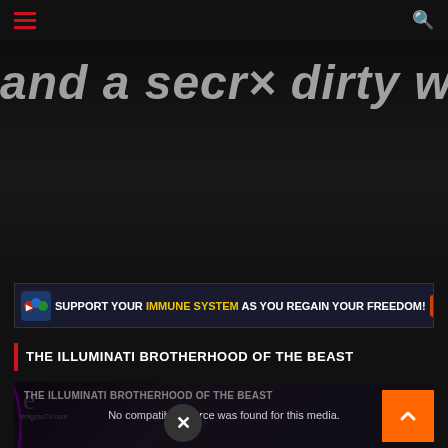Navigation bar with hamburger menu and search icon
and a secr× dirty w
[Figure (infographic): Banner advertisement: SUPPORT YOUR IMMUNE SYSTEM AS YOU REGAIN YOUR FREEDOM! with colorful icons]
THE ILLUMINATI BROTHERHOOD OF THE BEAST
[Figure (screenshot): Video player showing: THE ILLUMINATI BROTHERHOOD OF THE BEAST with overlay text 'No compatible source was found for this media.' and enigmaTV.com watermark. Close (X) button and orange scroll-to-top button visible.]